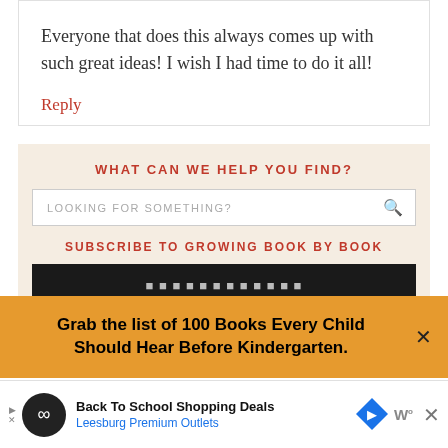Everyone that does this always comes up with such great ideas! I wish I had time to do it all!
Reply
WHAT CAN WE HELP YOU FIND?
LOOKING FOR SOMETHING?
SUBSCRIBE TO GROWING BOOK BY BOOK
Grab the list of 100 Books Every Child Should Hear Before Kindergarten.
[Figure (screenshot): Popup banner with orange background showing book list offer with close button]
[Figure (screenshot): Advertisement bar for Back To School Shopping Deals at Leesburg Premium Outlets]